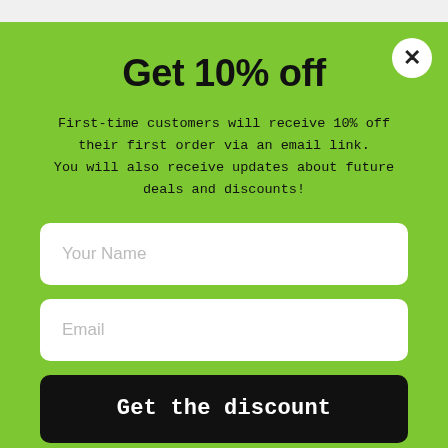Get 10% off
First-time customers will receive 10% off their first order via an email link. You will also receive updates about future deals and discounts!
Your Name
Email
Get the discount
I don't want it, thank you!